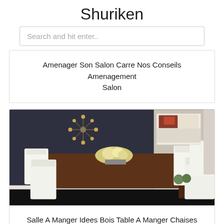Shuriken
Search and hit enter..
Amenager Son Salon Carre Nos Conseils Amenagement Salon
[Figure (photo): Dining room with a long dark wood table surrounded by white cantilever chairs, dark navy accent wall with starburst decor, colorful artwork on the right wall, and a flower centerpiece on the table.]
Salle A Manger Idees Bois Table A Manger Chaises Cantilever Blanc